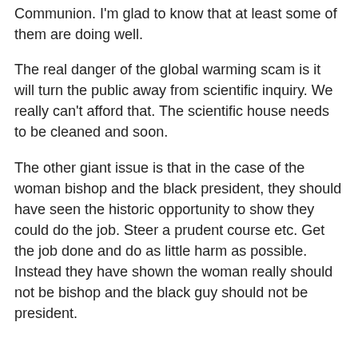Communion. I'm glad to know that at least some of them are doing well.
The real danger of the global warming scam is it will turn the public away from scientific inquiry. We really can't afford that. The scientific house needs to be cleaned and soon.
The other giant issue is that in the case of the woman bishop and the black president, they should have seen the historic opportunity to show they could do the job. Steer a prudent course etc. Get the job done and do as little harm as possible. Instead they have shown the woman really should not be bishop and the black guy should not be president.